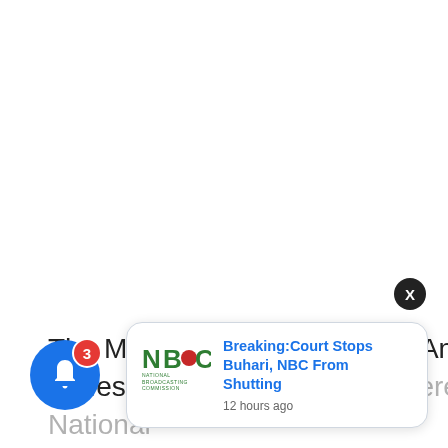The Milwaukee Brewers is an American professional baseball team in Baseball (MLB).
[Figure (logo): NBC National Broadcasting Commission logo — green stylized NBC letters with red circle accent]
Breaking:Court Stops Buhari, NBC From Shutting
12 hours ago